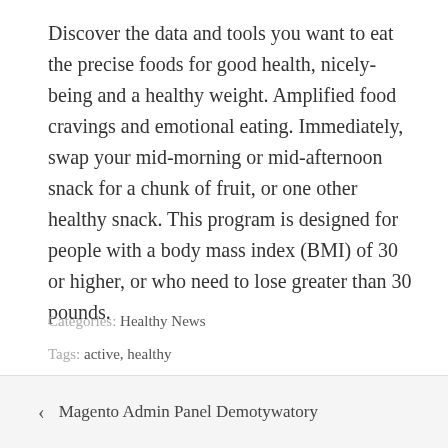Discover the data and tools you want to eat the precise foods for good health, nicely-being and a healthy weight. Amplified food cravings and emotional eating. Immediately, swap your mid-morning or mid-afternoon snack for a chunk of fruit, or one other healthy snack. This program is designed for people with a body mass index (BMI) of 30 or higher, or who need to lose greater than 30 pounds.
Categories: Healthy News
Tags: active, healthy
< Magento Admin Panel Demotywatory